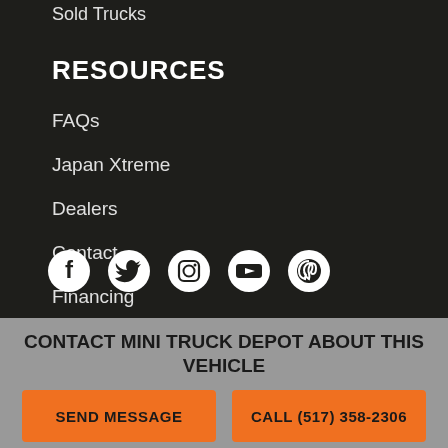Sold Trucks
RESOURCES
FAQs
Japan Xtreme
Dealers
Contact
Financing
[Figure (infographic): Social media icons: Facebook, Twitter, Instagram, YouTube, Pinterest]
CONTACT MINI TRUCK DEPOT ABOUT THIS VEHICLE
SEND MESSAGE
CALL (517) 358-2306